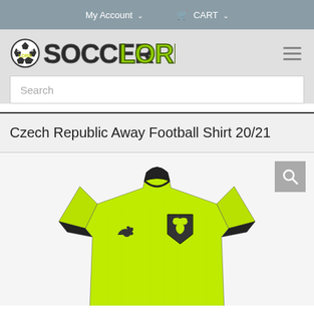My Account   CART
[Figure (logo): SoccerLord logo with soccer ball icon and stylized green and black 'SOCCERLORD' text]
Search
Czech Republic Away Football Shirt 20/21
[Figure (photo): Lime yellow/neon Czech Republic away football shirt 20/21 by Puma, with dark collar, Puma logo on left chest, Czech lion crest on right chest, displayed on headless mannequin]